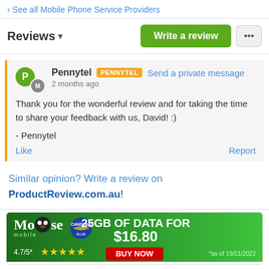‹ See all Mobile Phone Service Providers
Reviews ▾
Write a review
Pennytel  PENNYTEL  Send a private message
2 months ago
Thank you for the wonderful review and for taking the time to share your feedback with us, David! :)

- Pennytel
Like    Report
Similar opinion? Write a review on
ProductReview.com.au!
[Figure (infographic): Moose Mobile advertisement: 25GB OF DATA FOR $16.80, 4.7/5 star rating, BUY NOW button, *as of 19/01/2022]